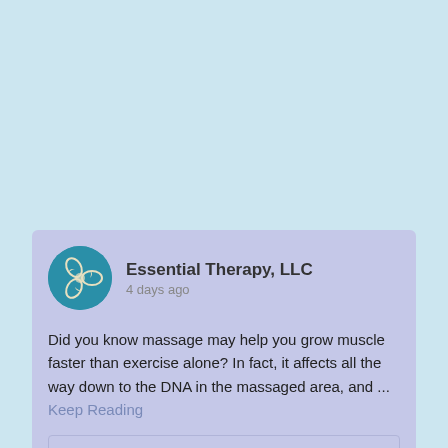Essential Therapy, LLC
4 days ago
Did you know massage may help you grow muscle faster than exercise alone? In fact, it affects all the way down to the DNA in the massaged area, and ... Keep Reading
Medical Massage Courses & Certification | Science of Massage Institute » CELLULAR MECHANISMS OF MASSAGE THERAPY: NEW SCIENTIFIC DATA
www.scienceofmassage.com
Several years ago we published the first article in a series under the general name "How Massage Heals The Body." In these articles we reviewed modern scientific